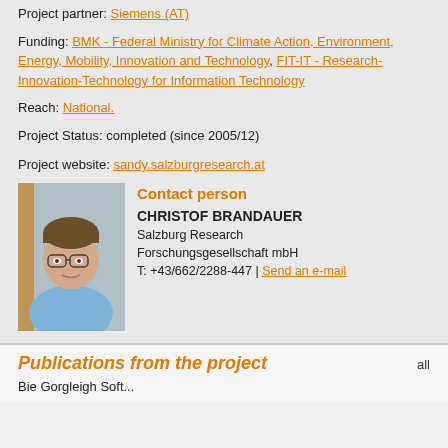Project partner: Siemens (AT)
Funding: BMK - Federal Ministry for Climate Action, Environment, Energy, Mobility, Innovation and Technology, FIT-IT - Research-Innovation-Technology for Information Technology
Reach: National.
Project Status: completed (since 2005/12)
Project website: sandy.salzburgresearch.at
[Figure (photo): Headshot photo of Christof Brandauer, a man wearing glasses and a blue shirt]
Contact person
CHRISTOF BRANDAUER
Salzburg Research Forschungsgesellschaft mbH
T: +43/662/2288-447 | Send an e-mail
Publications from the project
Bie Gorgleigh Soft...